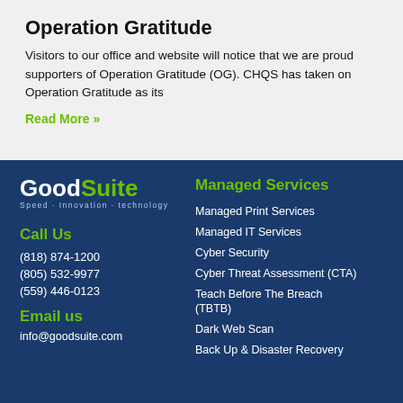Operation Gratitude
Visitors to our office and website will notice that we are proud supporters of Operation Gratitude (OG). CHQS has taken on Operation Gratitude as its
Read More »
[Figure (logo): GoodSuite logo with tagline Speed · Innovation · technology]
Call Us
(818) 874-1200
(805) 532-9977
(559) 446-0123
Email us
info@goodsuite.com
Managed Services
Managed Print Services
Managed IT Services
Cyber Security
Cyber Threat Assessment (CTA)
Teach Before The Breach (TBTB)
Dark Web Scan
Back Up & Disaster Recovery